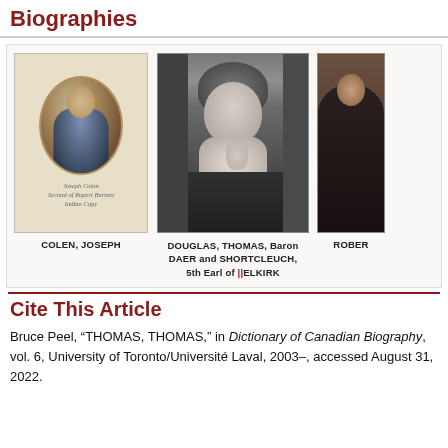Biographies
[Figure (photo): Three portrait photographs/paintings of historical figures: COLEN, JOSEPH (engraved oval portrait on pale background); DOUGLAS, THOMAS, Baron DAER and SHORTCLEUCH, 5th Earl of SELKIRK (black and white photograph of young man); ROBER... (partially visible dark painted portrait)]
COLEN, JOSEPH
DOUGLAS, THOMAS, Baron DAER and SHORTCLEUCH, 5th Earl of SELKIRK
ROBER
Cite This Article
Bruce Peel, “THOMAS, THOMAS,” in Dictionary of Canadian Biography, vol. 6, University of Toronto/Université Laval, 2003–, accessed August 31, 2022.